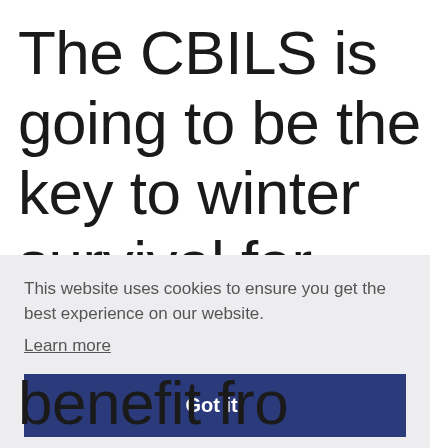The CBILS is going to be the key to winter survival for many
[Figure (screenshot): Cookie consent overlay with message 'This website uses cookies to ensure you get the best experience on our website.' with a 'Learn more' link and a 'Got it!' button on a light grey background.]
benefit fro...